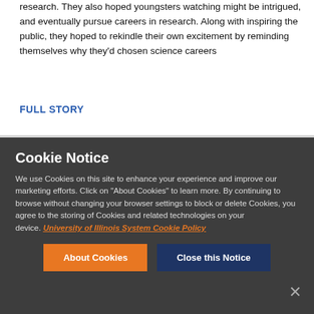research. They also hoped youngsters watching might be intrigued, and eventually pursue careers in research. Along with inspiring the public, they hoped to rekindle their own excitement by reminding themselves why they'd chosen science careers
FULL STORY
Cookie Notice
We use Cookies on this site to enhance your experience and improve our marketing efforts. Click on "About Cookies" to learn more. By continuing to browse without changing your browser settings to block or delete Cookies, you agree to the storing of Cookies and related technologies on your device. University of Illinois System Cookie Policy
About Cookies
Close this Notice